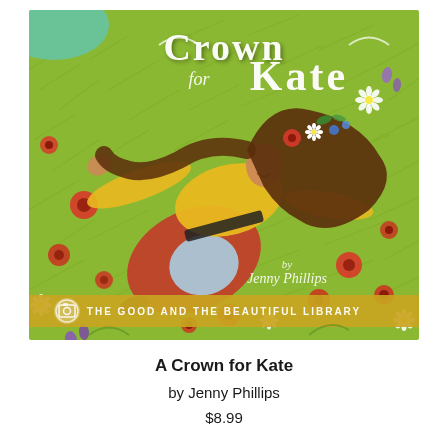[Figure (illustration): Book cover of 'A Crown for Kate' by Jenny Phillips, published by The Good and the Beautiful Library. Illustrated cover showing a girl with long brown hair lying in a green meadow filled with red poppies, white daisies, and purple flowers. She wears a yellow top, red skirt, and a flower crown. The title 'Crown Kate' appears in large white decorative script at the top. A golden banner at the bottom reads 'THE GOOD AND THE BEAUTIFUL LIBRARY'.]
A Crown for Kate
by Jenny Phillips
$8.99